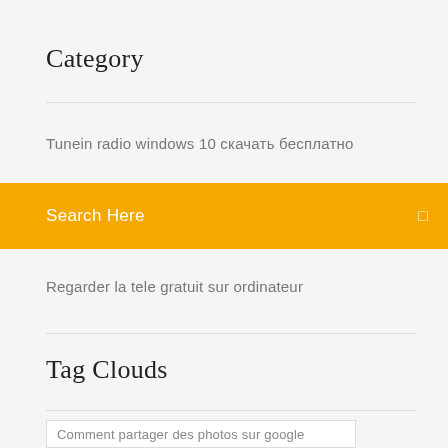Category
Tunein radio windows 10 скачать бесплатно
Search Here
Regarder la tele gratuit sur ordinateur
Tag Clouds
Comment partager des photos sur google